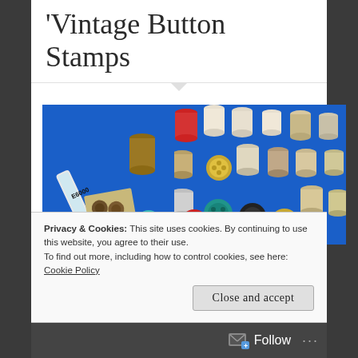Vintage Button Stamps
[Figure (photo): Two side-by-side photos on blue background. Left photo shows glue tube labeled E6000, thread spools, and vintage buttons on a card. Right photo shows multiple wooden thread spools and various vintage buttons arranged on a blue surface.]
This is so simple, I hesitate to
Privacy & Cookies: This site uses cookies. By continuing to use this website, you agree to their use.
To find out more, including how to control cookies, see here: Cookie Policy
Close and accept
Follow ...